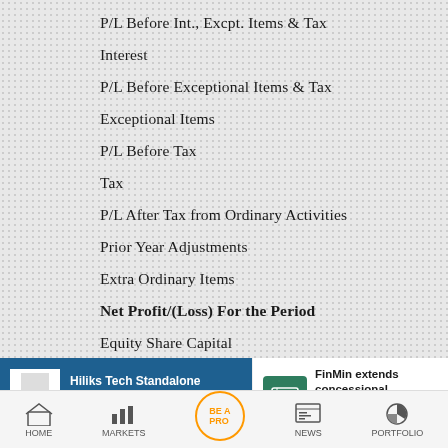P/L Before Int., Excpt. Items & Tax
Interest
P/L Before Exceptional Items & Tax
Exceptional Items
P/L Before Tax
Tax
P/L After Tax from Ordinary Activities
Prior Year Adjustments
Extra Ordinary Items
Net Profit/(Loss) For the Period
Equity Share Capital
Hiliks Tech Standalone March 2022 Net Sales ...
FinMin extends concessional customs duties ...